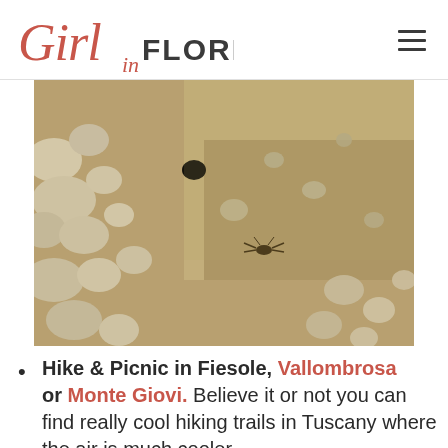Girl in Florence
[Figure (photo): Overhead view of a rocky riverbed with stones and shallow water in Tuscany]
Hike & Picnic in Fiesole, Vallombrosa or Monte Giovi. Believe it or not you can find really cool hiking trails in Tuscany where the air is much cooler